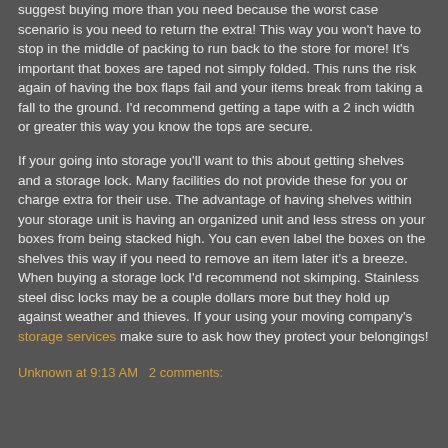suggest buying more than you need because the worst case scenario is you need to return the extra! This way you won't have to stop in the middle of packing to run back to the store for more! It's important that boxes are taped not simply folded. This runs the risk again of having the box flaps fail and your items break from taking a fall to the ground. I'd recommend getting a tape with a 2 inch width or greater this way you know the tops are secure.
If your going into storage you'll want to this about getting shelves and a storage lock. Many facilities do not provide these for you or charge extra for their use. The advantage of having shelves within your storage unit is having an organized unit and less stress on your boxes from being stacked high. You can even label the boxes on the shelves this way if you need to remove an item later it's a breeze. When buying a storage lock I'd recommend not skimping. Stainless steel disc locks may be a couple dollars more but they hold up against weather and thieves. If your using your moving company's storage services make sure to ask how they protect your belongings!
Unknown at 9:13 AM   2 comments: